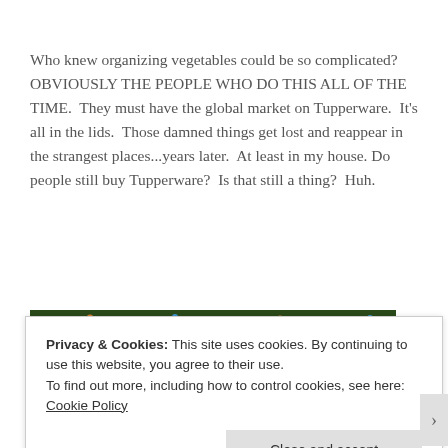Who knew organizing vegetables could be so complicated? OBVIOUSLY THE PEOPLE WHO DO THIS ALL OF THE TIME.  They must have the global market on Tupperware.  It's all in the lids.  Those damned things get lost and reappear in the strangest places...years later.  At least in my house. Do people still buy Tupperware?  Is that still a thing?  Huh.
[Figure (photo): A photo of a woman wearing a pink flower/feather headpiece at what appears to be a festive or TV show setting with colorful decorations and food items visible.]
Privacy & Cookies: This site uses cookies. By continuing to use this website, you agree to their use.
To find out more, including how to control cookies, see here: Cookie Policy
Close and accept